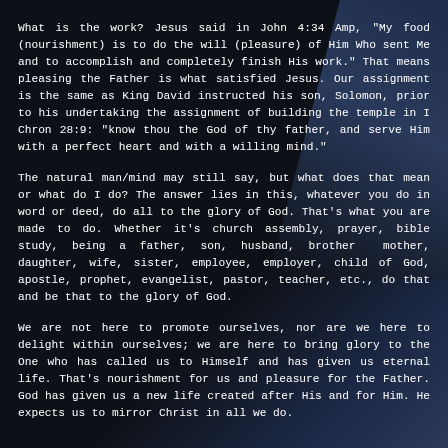What is the work? Jesus said in John 4:34 Amp, "My food (nourishment) is to do the will (pleasure) of Him Who sent Me and to accomplish and completely finish His work." That means pleasing the Father is what satisfied Jesus. Our assignment is the same as King David instructed his son, Solomon, prior to his undertaking the assignment of building the temple in I Chron 28:9: "know thou the God of thy father, and serve Him with a perfect heart and with a willing mind."
The natural man/mind may still say, but what does that mean or what do I do? The answer lies in this, whatever you do in word or deed, do all to the glory of God. That's what you are made to do. Whether it's church assembly, prayer, bible study, being a father, son, husband, brother  mother, daughter, wife, sister, employee, employer, child of God, apostle, prophet, evangelist, pastor, teacher, etc., do that and be that to the glory of God.
We are not here to promote ourselves, nor are we here to delight within ourselves; we are here to bring glory to the One who has called us to Himself and has given us eternal life. That's nourishment for us and pleasure for the Father. God has given us a new life created after His and for Him. He expects us to mirror Christ in all we do.